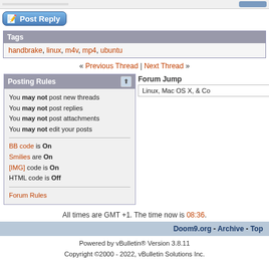[Figure (screenshot): Post Reply button with pencil/paper icon on blue gradient background]
Tags
handbrake, linux, m4v, mp4, ubuntu
« Previous Thread | Next Thread »
Posting Rules
You may not post new threads
You may not post replies
You may not post attachments
You may not edit your posts
BB code is On
Smilies are On
[IMG] code is On
HTML code is Off
Forum Rules
Forum Jump
Linux, Mac OS X, & Co
All times are GMT +1. The time now is 08:36.
Doom9.org - Archive - Top
Powered by vBulletin® Version 3.8.11
Copyright ©2000 - 2022, vBulletin Solutions Inc.